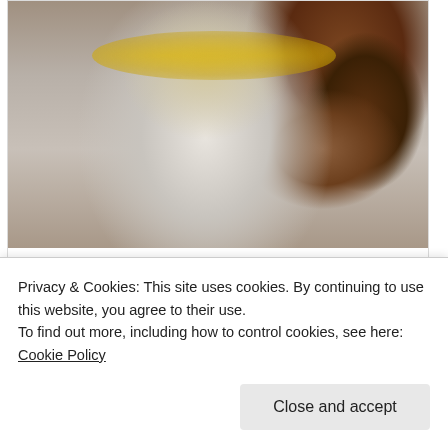[Figure (photo): Instagram post photo: man with yellow-tinted sunglasses and a grey t-shirt, seated at a table with dark wood paneling in background, selfie-style portrait]
View more on Instagram
[Figure (other): Instagram action icons: heart, comment bubble, share/upload arrow (left side); bookmark icon (right side)]
Privacy & Cookies: This site uses cookies. By continuing to use this website, you agree to their use.
To find out more, including how to control cookies, see here: Cookie Policy
Close and accept